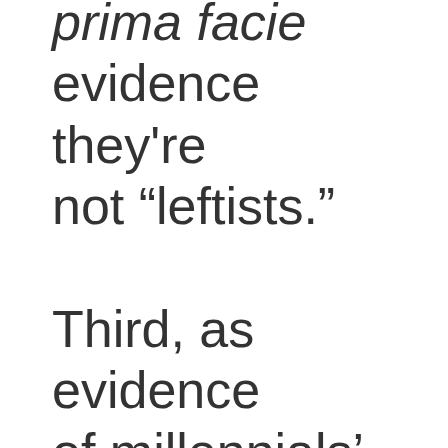prima facie evidence they're not “leftists.” Third, as evidence of millennials’ “libertarian streak,” Ekins